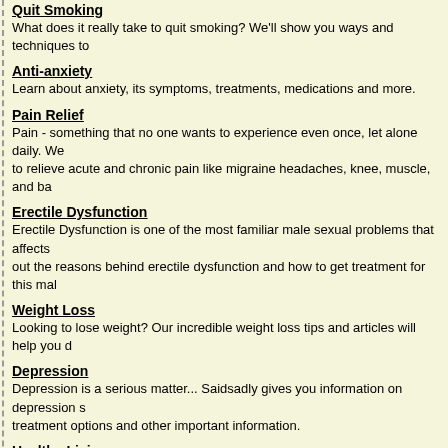Quit Smoking
What does it really take to quit smoking? We'll show you ways and techniques to
Anti-anxiety
Learn about anxiety, its symptoms, treatments, medications and more.
Pain Relief
Pain - something that no one wants to experience even once, let alone daily. We to relieve acute and chronic pain like migraine headaches, knee, muscle, and ba
Erectile Dysfunction
Erectile Dysfunction is one of the most familiar male sexual problems that affects out the reasons behind erectile dysfunction and how to get treatment for this mal
Weight Loss
Looking to lose weight? Our incredible weight loss tips and articles will help you
Depression
Depression is a serious matter... Saidsadly gives you information on depression s treatment options and other important information.
Healthy Living
Live healthier, live longer with our advice on physical activity, healthy eating, quit
Drug Prescription
We have information on a variety of drug prescriptions. Learn more about prescri and more.
Medication Guide
A resource that brings together valuable information on topics such as medicatio
Prescription Drug Information
We have a rich collection of prescription drug information on a variety of popular more.